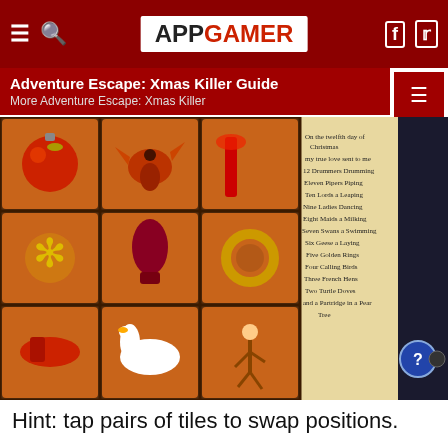APPGAMER
Adventure Escape: Xmas Killer Guide
More Adventure Escape: Xmas Killer
[Figure (screenshot): Game screenshot showing a grid of Christmas-themed tiles (ornament, bird, ring, dancer, swan, wreath, etc.) alongside a scroll listing the Twelve Days of Christmas lyrics.]
Hint: tap pairs of tiles to swap positions.